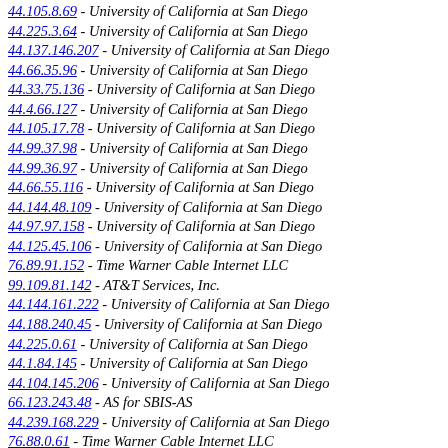44.105.8.69 - University of California at San Diego
44.225.3.64 - University of California at San Diego
44.137.146.207 - University of California at San Diego
44.66.35.96 - University of California at San Diego
44.33.75.136 - University of California at San Diego
44.4.66.127 - University of California at San Diego
44.105.17.78 - University of California at San Diego
44.99.37.98 - University of California at San Diego
44.99.36.97 - University of California at San Diego
44.66.55.116 - University of California at San Diego
44.144.48.109 - University of California at San Diego
44.97.97.158 - University of California at San Diego
44.125.45.106 - University of California at San Diego
76.89.91.152 - Time Warner Cable Internet LLC
99.109.81.142 - AT&T Services, Inc.
44.144.161.222 - University of California at San Diego
44.188.240.45 - University of California at San Diego
44.225.0.61 - University of California at San Diego
44.1.84.145 - University of California at San Diego
44.104.145.206 - University of California at San Diego
66.123.243.48 - AS for SBIS-AS
44.239.168.229 - University of California at San Diego
76.88.0.61 - Time Warner Cable Internet LLC
76.88.7.68 - Time Warner Cable Internet LLC
44.1.0.61 - University of California at San Diego
76.89.86.147 - Time Warner Cable Internet LLC
2942083 - -117165 - 32807
Localiser-IP.com, un service BlueBiz